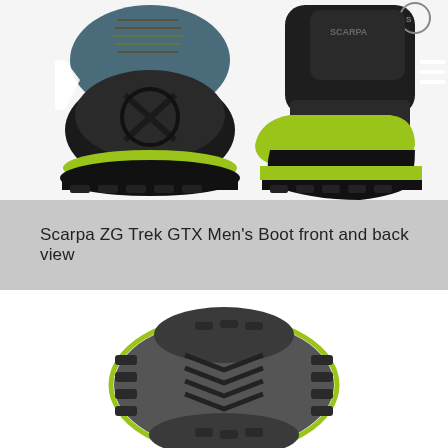[Figure (photo): Front and back view of Scarpa ZG Trek GTX Men's Boot showing two hiking boots side by side. The left boot shows the front/toe view with a black rubber toe cap featuring an X pattern, yellow-green midsole, and dark laces. The right boot shows the back/heel view with a black upper, yellow-green heel counter, and Scarpa branding.]
Scarpa ZG Trek GTX Men's Boot front and back view
[Figure (photo): Bottom/sole view of the Scarpa ZG Trek GTX Men's Boot showing the outsole tread pattern with deep lugs, herringbone pattern, and yellow-green accent color around the perimeter.]